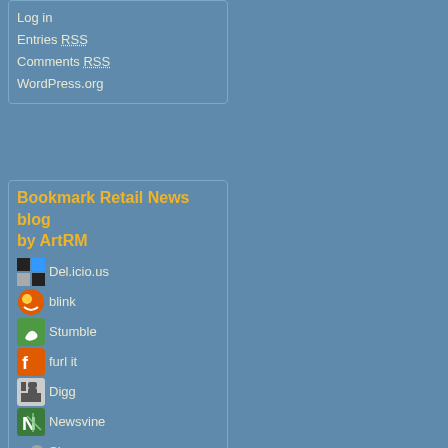Log in
Entries RSS
Comments RSS
WordPress.org
Bookmark Retail News blog by ArtRM
Del.icio.us
blink
Stumble
furl it
Digg
Newsvine
Simpy
Spurl
Newsgator
Yahoo
Reddit
Technorati
BlogCatalog
Search Engine Submission - AddMe